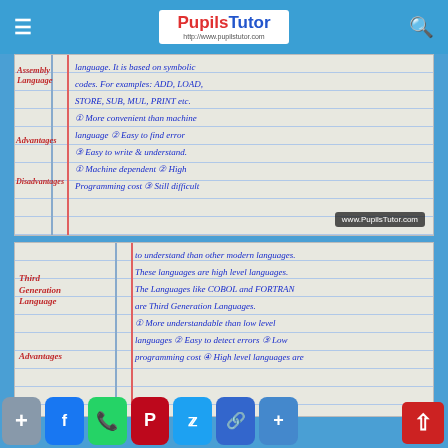PupilsTutor — www.pupilstutor.com
[Figure (photo): Handwritten notebook page showing Assembly Language notes. Labels: Language, Advantages, Disadvantages. Text: language. It is based on symbolic codes. For examples: ADD, LOAD, STORE, SUB, MUL, PRINT etc. Advantages: (1) More convenient than machine language (2) Easy to find error (3) Easy to write & understand. Disadvantages: (1) Machine dependent (2) High Programming cost (3) Still difficult. Watermark: www.PupilsTutor.com]
[Figure (photo): Handwritten notebook page showing Third Generation Language notes. Labels: Third Generation Language, Advantages. Text: to understand than other modern languages. These languages are high level languages. The Languages like COBOL and FORTRAN are Third Generation Languages. Advantages: (1) More understandable than low level languages (2) Easy to detect errors (3) Low programming cost (4) High level languages are...]
Social share buttons: Add, Facebook, WhatsApp, Pinterest, Twitter, Link, Share